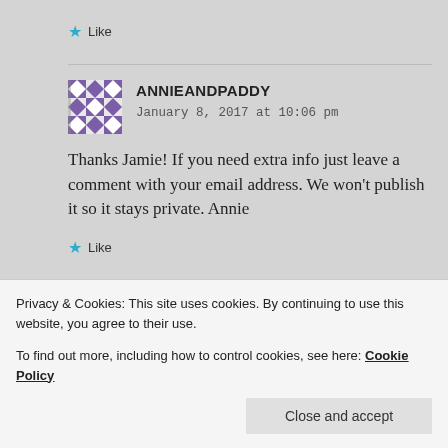Like
ANNIEANDPADDY
January 8, 2017 at 10:06 pm
Thanks Jamie! If you need extra info just leave a comment with your email address. We won't publish it so it stays private. Annie
Like
Privacy & Cookies: This site uses cookies. By continuing to use this website, you agree to their use.
To find out more, including how to control cookies, see here: Cookie Policy
Close and accept